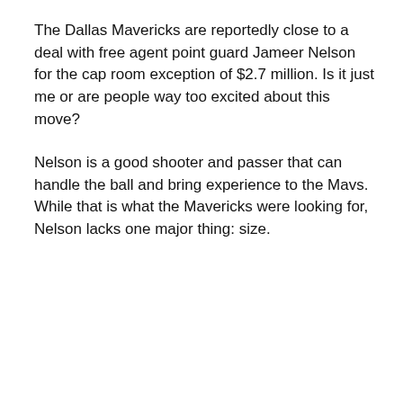The Dallas Mavericks are reportedly close to a deal with free agent point guard Jameer Nelson for the cap room exception of $2.7 million. Is it just me or are people way too excited about this move?
Nelson is a good shooter and passer that can handle the ball and bring experience to the Mavs. While that is what the Mavericks were looking for, Nelson lacks one major thing: size.